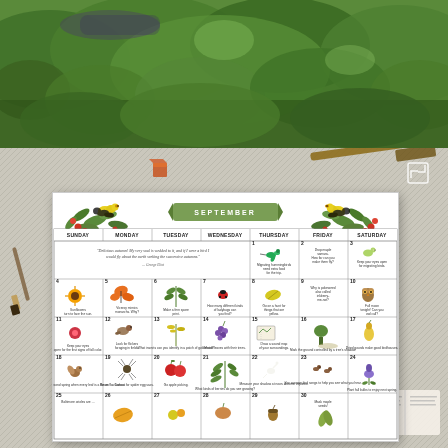[Figure (photo): Top half: garden/nature photo showing green plants and foliage from above, someone lying in garden visible at top]
[Figure (photo): Bottom half: flat lay of calendar on gray herringbone fabric with watercolor paints, brushes, and open book]
[Figure (illustration): September nature calendar with botanical bird illustrations (goldfinches on berry branches), watercolor illustrations for each day including hummingbirds, butterflies, sunflowers, owls, apples, squirrels, and daily nature activity prompts]